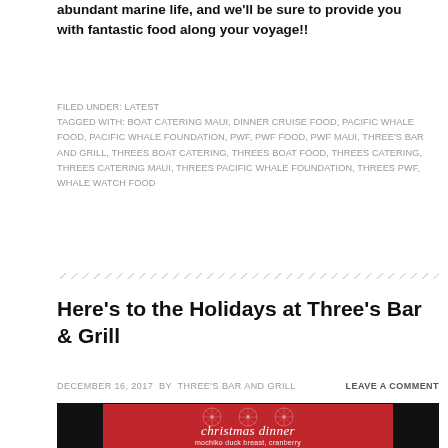abundant marine life, and we'll be sure to provide you with fantastic food along your voyage!!
FILED UNDER: LATEST
TAGGED WITH: BOAT CATERING MAUI, DINNER CRUISE FOOD, PACIFIC WHALE FOOD, PACIFIC WHALE FOUNDATION, PWF, PWF FOOD, PWF MAUI, THREE'S BAR AND GRILL, THREES BOAT CATERING, THREES BOAT FOOD, THREES CATERING, THREES CATERING MAUI, THREES PACIFIC WHALE FOUNDATION, THREES PWF, WHALE WATCH FOOD
Here's to the Holidays at Three's Bar & Grill
DECEMBER 16, 2017 BY THREE'S BAR AND GRILL   LEAVE A COMMENT
[Figure (photo): Christmas dinner menu card on a tablet/screen with red background, snowflake ornament decorations, cursive text 'christmas dinner' and subtitle 'mochiko duck breast, cranberry']